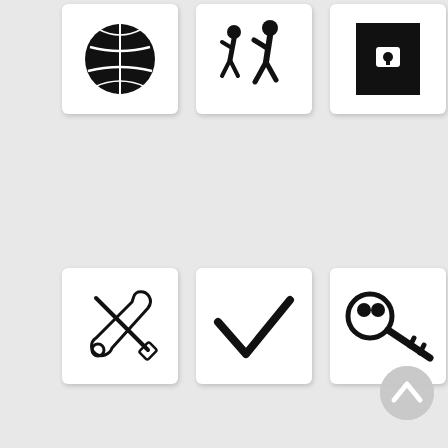[Figure (illustration): Grid of icons: globe/earth, people walking, door lock keyhole, tools crossed (screwdriver+wrench outline), checkmark, old key, hammer+wrench solid, padlock closed, refrigerator, clock, open book, checkmark (partial). Scroll-to-top button bottom right.]
[Figure (illustration): Icon: globe/earth silhouette]
[Figure (illustration): Icon: two people walking]
[Figure (illustration): Icon: door with keyhole (lock)]
[Figure (illustration): Icon: crossed screwdriver and wrench (outline)]
[Figure (illustration): Icon: checkmark/tick]
[Figure (illustration): Icon: old-style key]
[Figure (illustration): Icon: hammer and wrench crossed (solid)]
[Figure (illustration): Icon: padlock closed]
[Figure (illustration): Icon: refrigerator]
[Figure (illustration): Icon: clock]
[Figure (illustration): Icon: open book]
[Figure (illustration): Icon: checkmark/tick (partial)]